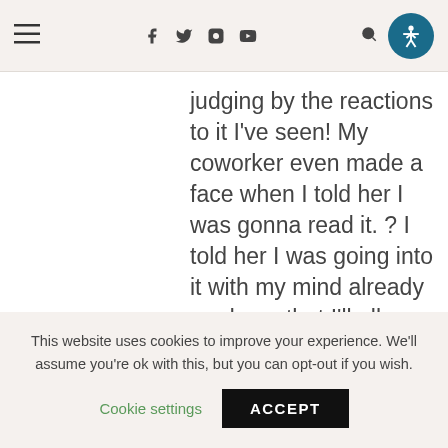≡ f t ◻ ▶ 🔍 [accessibility icon]
judging by the reactions to it I've seen! My coworker even made a face when I told her I was gonna read it. ? I told her I was going into it with my mind already made up that I'll allow myself to DNF it if I don't like it!
★ Loading...
This website uses cookies to improve your experience. We'll assume you're ok with this, but you can opt-out if you wish. Cookie settings ACCEPT